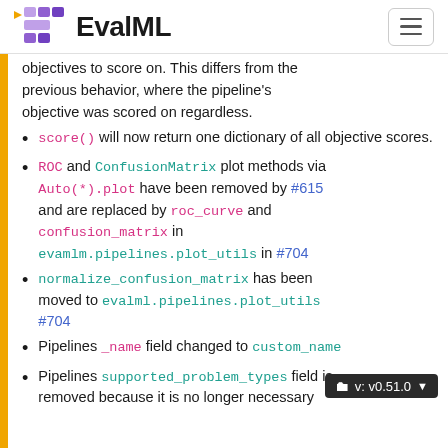EvalML
objectives to score on. This differs from the previous behavior, where the pipeline's objective was scored on regardless.
score() will now return one dictionary of all objective scores.
ROC and ConfusionMatrix plot methods via Auto(*).plot have been removed by #615 and are replaced by roc_curve and confusion_matrix in evamlm.pipelines.plot_utils in #704
normalize_confusion_matrix has been moved to evalml.pipelines.plot_utils #704
Pipelines _name field changed to custom_name
Pipelines supported_problem_types field is removed because it is no longer necessary